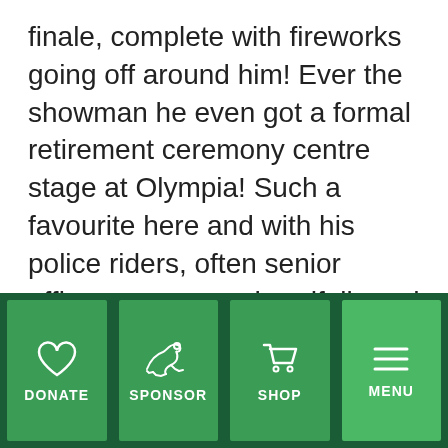finale, complete with fireworks going off around him! Ever the showman he even got a formal retirement ceremony centre stage at Olympia! Such a favourite here and with his police riders, often senior officers, we were dreadfully sad to see him go but at least his pain is now over.
We have no doubt he's impressing everyone wherever he is now with his theatrical stunts! Night night Harlequin, you were a gorgeous gentleman, a real softy and you certainly had the X Factor, we will miss you.
[Figure (infographic): Dark green footer navigation bar with four buttons: DONATE (heart icon), SPONSOR (running horse icon), SHOP (shopping cart icon), MENU (hamburger menu icon). Buttons are light green squares on a dark green background.]